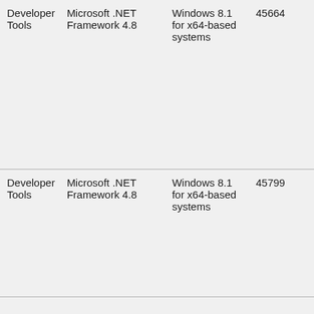| Developer Tools | Microsoft .NET Framework 4.8 | Windows 8.1 for x64-based systems | 45664 |
| Developer Tools | Microsoft .NET Framework 4.8 | Windows 8.1 for x64-based systems | 45799 |